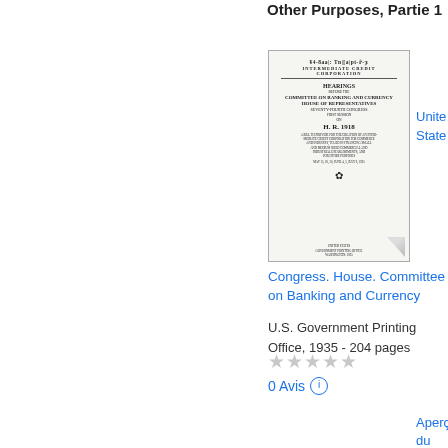Other Purposes, Partie 1
[Figure (photo): Thumbnail image of a historical U.S. government document cover: 'Intermediate Credit Corporation – Hearings before the Committee on Banking and Currency, House of Representatives, Seventy-Fourth Congress, First Session on H.R. 1918']
United States
Congress. House. Committee on Banking and Currency
U.S. Government Printing Office, 1935 - 204 pages
★★★★★
0 Avis
Aperçu du livre